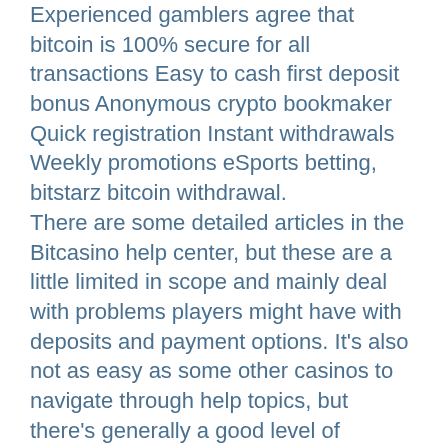Experienced gamblers agree that bitcoin is 100% secure for all transactions Easy to cash first deposit bonus Anonymous crypto bookmaker Quick registration Instant withdrawals Weekly promotions eSports betting, bitstarz bitcoin withdrawal. There are some detailed articles in the Bitcasino help center, but these are a little limited in scope and mainly deal with problems players might have with deposits and payment options. It's also not as easy as some other casinos to navigate through help topics, but there's generally a good level of support, and players can always email the Bitcasino team for further help, bitstarz 25 free spins. For those who don't want to navigate exchanges, crypto wallets, and Bitcoin addresses, Bitcasino is a perfect choice ' players can simply purchase Bitcoin using their credit card once they've made an account. But remember, you will need to validate your identity if you choose this